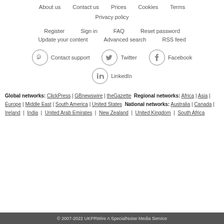About us | Contact us | Prices | Cookies | Terms
Privacy policy
Register | Sign in | FAQ | Reset password
Update your content | Advanced search | RSS feed
[Figure (infographic): Contact support icon (phone in circle), Twitter icon (bird in circle), Facebook icon (f in circle), LinkedIn icon (in in circle)]
Global networks: ClickPress | GBnewswire | theGazette  Regional networks: Africa | Asia | Europe | Middle East | South America | United States  National networks: Australia | Canada | Ireland | India | United Arab Emirates | New Zealand | United Kingdom | South Africa
© 2007-2022 UKPRWire A SpecialNoise Media Service